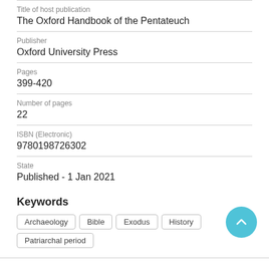Title of host publication
The Oxford Handbook of the Pentateuch
Publisher
Oxford University Press
Pages
399-420
Number of pages
22
ISBN (Electronic)
9780198726302
State
Published - 1 Jan 2021
Keywords
Archaeology
Bible
Exodus
History
Patriarchal period